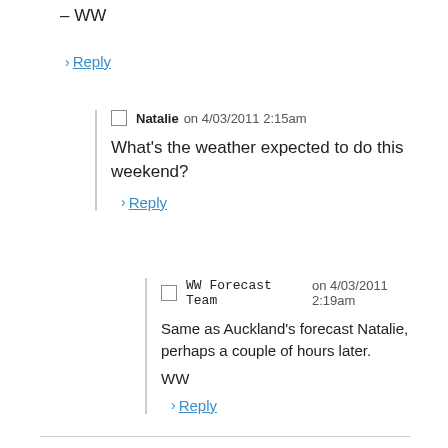– WW
> Reply
Natalie on 4/03/2011 2:15am
What's the weather expected to do this weekend?
> Reply
WW Forecast Team on 4/03/2011 2:19am
Same as Auckland's forecast Natalie, perhaps a couple of hours later.

WW
> Reply